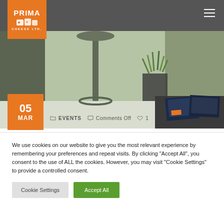Prima Cheese Ltd — Navigation header with logo and hamburger menu
[Figure (photo): Interior office/showroom scene with a tall pedestal-style dark stool, a green grass plant, and marketing brochures/magazines on a dark counter. Light green/sage wall in background.]
05 MAR
EVENTS   Comments Off   1
We use cookies on our website to give you the most relevant experience by remembering your preferences and repeat visits. By clicking “Accept All”, you consent to the use of ALL the cookies. However, you may visit "Cookie Settings" to provide a controlled consent.
Cookie Settings   Accept All